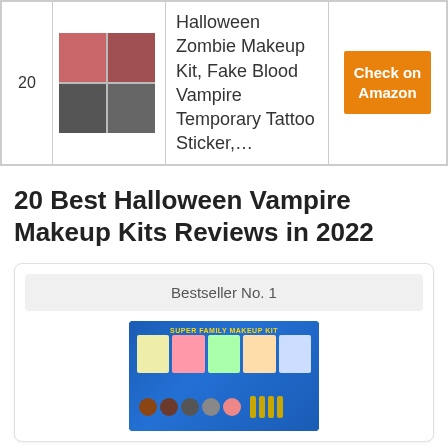| # | Image | Product | Link |
| --- | --- | --- | --- |
| 20 | [image] | Halloween Zombie Makeup Kit, Fake Blood Vampire Temporary Tattoo Sticker,… | Check on Amazon |
20 Best Halloween Vampire Makeup Kits Reviews in 2022
Bestseller No. 1
[Figure (photo): Super Family Makeup Kit product image showing a blue palette box with face paint swatches and golden applicators, with costume face examples on the packaging.]